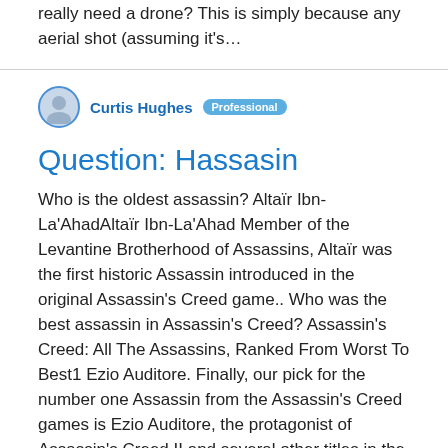really need a drone? This is simply because any aerial shot (assuming it's…
Curtis Hughes  Professional
Question: Hassasin
Who is the oldest assassin? Altaïr Ibn-La'AhadAltaïr Ibn-La'Ahad Member of the Levantine Brotherhood of Assassins, Altaïr was the first historic Assassin introduced in the original Assassin's Creed game.. Who was the best assassin in Assassin's Creed? Assassin's Creed: All The Assassins, Ranked From Worst To Best1 Ezio Auditore. Finally, our pick for the number one Assassin from the Assassin's Creed games is Ezio Auditore, the protagonist of Assassin's Creed II and several other titles in the series.2 Altaïr ibn-La'Ahad. ... 3 Edward Kenway. ... 4 Kassandra. ... 5